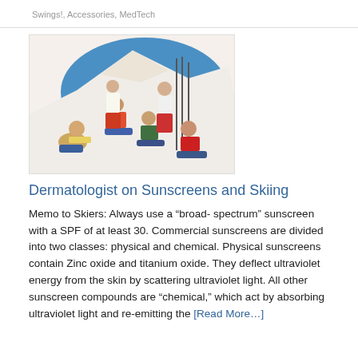Swings!, Accessories, MedTech
[Figure (illustration): Colorful illustration of a group of skiers resting on a snowy slope, with ski equipment visible in the background and a blue sky. Multiple figures in casual ski attire.]
Dermatologist on Sunscreens and Skiing
Memo to Skiers: Always use a “broad- spectrum” sunscreen with a SPF of at least 30. Commercial sunscreens are divided into two classes: physical and chemical. Physical sunscreens contain Zinc oxide and titanium oxide. They deflect ultraviolet energy from the skin by scattering ultraviolet light. All other sunscreen compounds are “chemical,” which act by absorbing ultraviolet light and re-emitting the [Read More…]